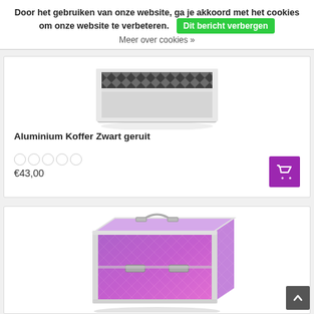Door het gebruiken van onze website, ga je akkoord met het cookies om onze website te verbeteren. Dit bericht verbergen
Meer over cookies »
[Figure (photo): Aluminium koffer zwart geruit — flat aluminium briefcase with black diamond-pattern lid, viewed from above at angle, silver trim]
Aluminium Koffer Zwart geruit
€43,00
[Figure (photo): Aluminium make-up koffer with purple/pink holographic diamond-pattern exterior and silver metal trim, clasps visible on front]